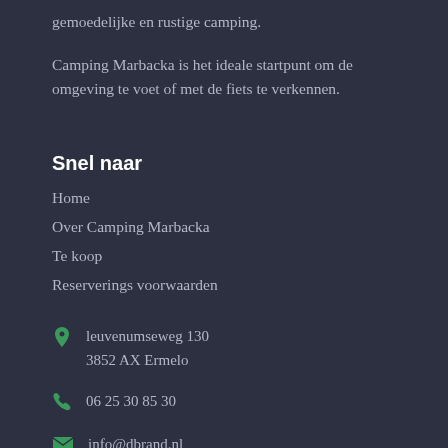gemoedelijke en rustige camping.

Camping Marbacka is het ideale startpunt om de omgeving te voet of met de fiets te verkennen.
Snel naar
Home
Over Camping Marbacka
Te koop
Reserverings voorwaarden
leuvenumseweg 130
3852 AX Ermelo
06 25 30 85 30
info@dbrand.nl